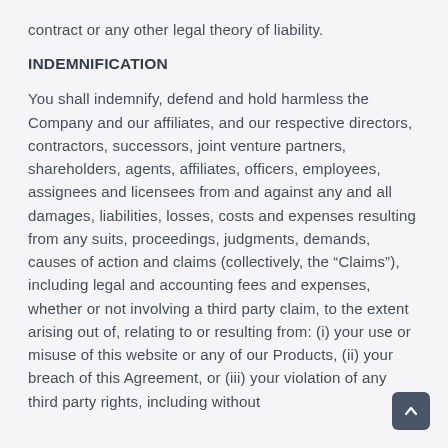contract or any other legal theory of liability.
INDEMNIFICATION
You shall indemnify, defend and hold harmless the Company and our affiliates, and our respective directors, contractors, successors, joint venture partners, shareholders, agents, affiliates, officers, employees, assignees and licensees from and against any and all damages, liabilities, losses, costs and expenses resulting from any suits, proceedings, judgments, demands, causes of action and claims (collectively, the “Claims”), including legal and accounting fees and expenses, whether or not involving a third party claim, to the extent arising out of, relating to or resulting from: (i) your use or misuse of this website or any of our Products, (ii) your breach of this Agreement, or (iii) your violation of any third party rights, including without